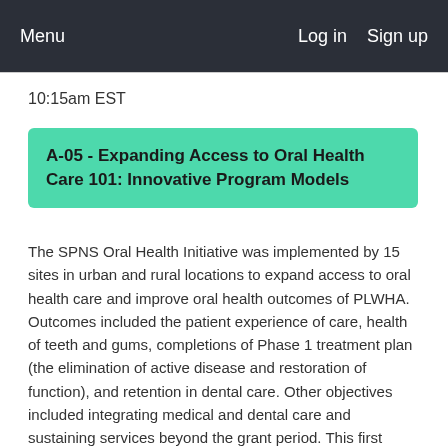Menu   Log in   Sign up
10:15am EST
A-05 - Expanding Access to Oral Health Care 101: Innovative Program Models
The SPNS Oral Health Initiative was implemented by 15 sites in urban and rural locations to expand access to oral health care and improve oral health outcomes of PLWHA. Outcomes included the patient experience of care, health of teeth and gums, completions of Phase 1 treatment plan (the elimination of active disease and restoration of function), and retention in dental care. Other objectives included integrating medical and dental care and sustaining services beyond the grant period. This first Institute session addresses program models,